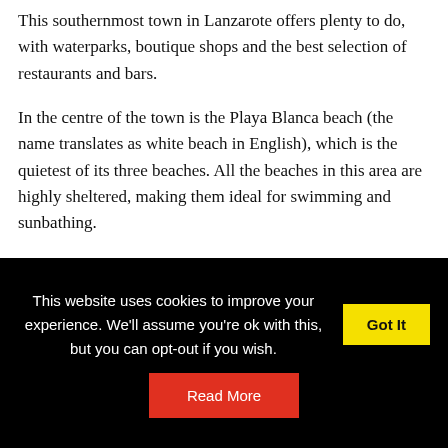This southernmost town in Lanzarote offers plenty to do, with waterparks, boutique shops and the best selection of restaurants and bars.
In the centre of the town is the Playa Blanca beach (the name translates as white beach in English), which is the quietest of its three beaches. All the beaches in this area are highly sheltered, making them ideal for swimming and sunbathing.
At Lanzarote Villa Choice Limited, we have over 180 holiday villas and self-catering apartments to rent in
This website uses cookies to improve your experience. We'll assume you're ok with this, but you can opt-out if you wish.
Got It
Read More